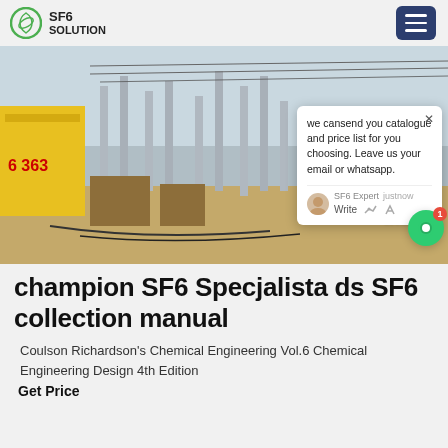SF6 SOLUTION
[Figure (photo): Electrical substation with SF6 equipment, shows high-voltage apparatus, insulators, pipework, with a yellow freight container on the left and overhead power lines]
we cansend you catalogue and price list for you choosing. Leave us your email or whatsapp.
SF6 Expert   justnow
Write
champion SF6 Specjalista ds SF6 collection manual
Coulson Richardson's Chemical Engineering Vol.6 Chemical Engineering Design 4th Edition
Get Price